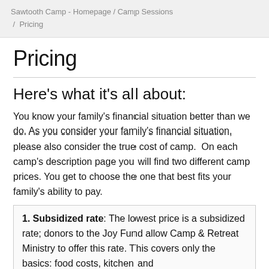Sawtooth Camp - Homepage / Camp Sessions / Pricing
Pricing
Here's what it's all about:
You know your family's financial situation better than we do. As you consider your family's financial situation, please also consider the true cost of camp.  On each camp's description page you will find two different camp prices. You get to choose the one that best fits your family's ability to pay.
1. Subsidized rate: The lowest price is a subsidized rate; donors to the Joy Fund allow Camp & Retreat Ministry to offer this rate. This covers only the basics: food costs, kitchen and